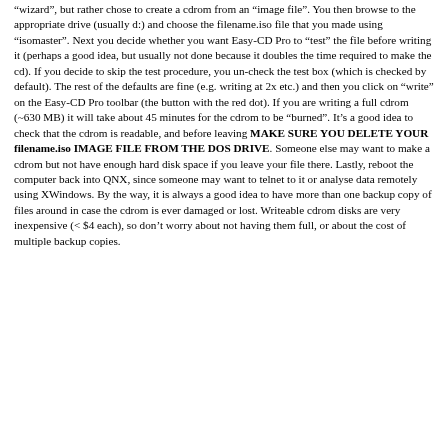"wizard", but rather chose to create a cdrom from an "image file". You then browse to the appropriate drive (usually d:) and choose the filename.iso file that you made using "isomaster". Next you decide whether you want Easy-CD Pro to "test" the file before writing it (perhaps a good idea, but usually not done because it doubles the time required to make the cd). If you decide to skip the test procedure, you un-check the test box (which is checked by default). The rest of the defaults are fine (e.g. writing at 2x etc.) and then you click on "write" on the Easy-CD Pro toolbar (the button with the red dot). If you are writing a full cdrom (~630 MB) it will take about 45 minutes for the cdrom to be "burned". It's a good idea to check that the cdrom is readable, and before leaving MAKE SURE YOU DELETE YOUR filename.iso IMAGE FILE FROM THE DOS DRIVE. Someone else may want to make a cdrom but not have enough hard disk space if you leave your file there. Lastly, reboot the computer back into QNX, since someone may want to telnet to it or analyse data remotely using XWindows. By the way, it is always a good idea to have more than one backup copy of files around in case the cdrom is ever damaged or lost. Writeable cdrom disks are very inexpensive (< $4 each), so don't worry about not having them full, or about the cost of multiple backup copies.